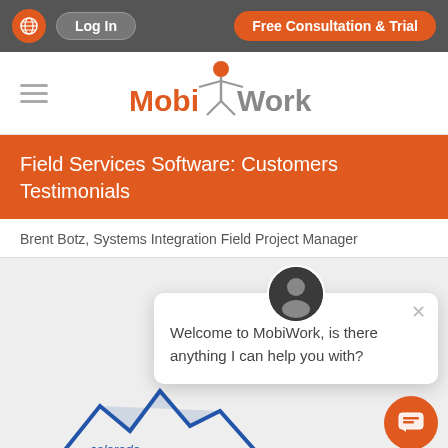Log In | Free Consultation & Trial
[Figure (logo): MobiWork logo with orange figure and gray text]
Field Services Software: Customers Testimonials
Brent Botz, Systems Integration Field Project Manager
[Figure (screenshot): Chat popup with avatar: 'Welcome to MobiWork, is there anything I can help you with?' and floating chat button]
[Figure (logo): Colorado company logo partial at bottom]